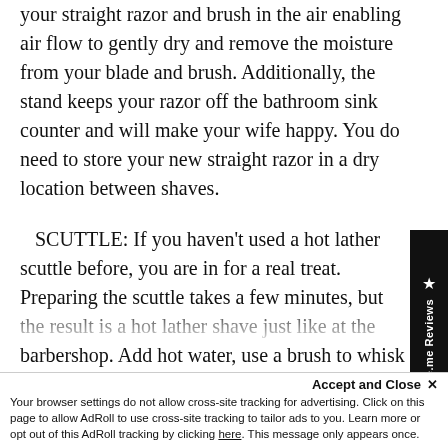your straight razor and brush in the air enabling air flow to gently dry and remove the moisture from your blade and brush. Additionally, the stand keeps your razor off the bathroom sink counter and will make your wife happy. You do need to store your new straight razor in a dry location between shaves.
SCUTTLE: If you haven't used a hot lather scuttle before, you are in for a real treat. Preparing the scuttle takes a few minutes, but the result is a hot lather shave just like at the barbershop. Add hot water, use a brush to whisk the shave puck, and watch the magic lather appear like a beautiful genie. When used with a thick layer of...
[Figure (other): Judge.me Reviews sidebar widget — black vertical tab on right side with star icon and rotated text]
Accept and Close ×
Your browser settings do not allow cross-site tracking for advertising. Click on this page to allow AdRoll to use cross-site tracking to tailor ads to you. Learn more or opt out of this AdRoll tracking by clicking here. This message only appears once.